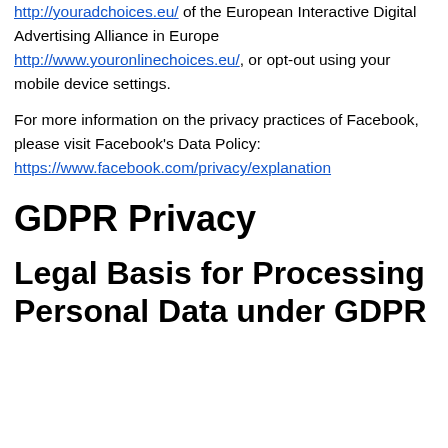http://youradchoices.eu/ of the European Interactive Digital Advertising Alliance in Europe http://www.youronlinechoices.eu/, or opt-out using your mobile device settings.
For more information on the privacy practices of Facebook, please visit Facebook's Data Policy: https://www.facebook.com/privacy/explanation
GDPR Privacy
Legal Basis for Processing Personal Data under GDPR